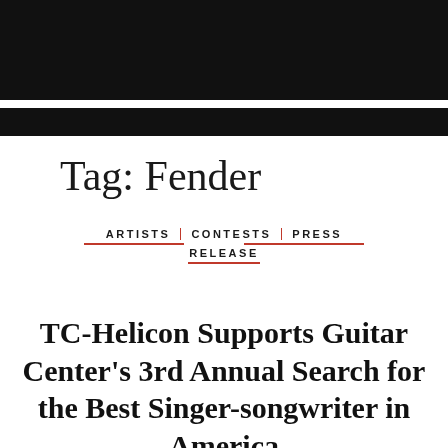Tag: Fender
ARTISTS CONTESTS PRESS RELEASE
TC-Helicon Supports Guitar Center's 3rd Annual Search for the Best Singer-songwriter in America